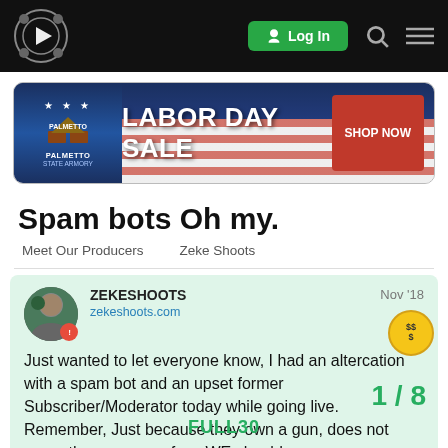ZEKESHOOTS — Log In
[Figure (photo): Palmetto State Armory Labor Day Sale advertisement banner with American flag background, featuring logo on left and SHOP NOW button on right]
Spam bots Oh my.
Meet Our Producers   Zeke Shoots
ZEKESHOOTS zekeshoots.com Nov '18 Just wanted to let everyone know, I had an altercation with a spam bot and an upset former Subscriber/Moderator today while going live. Remember, Just because they own a gun, does not mean they are one of us. WE should that just because we don't agree with
1 / 8
FULL30